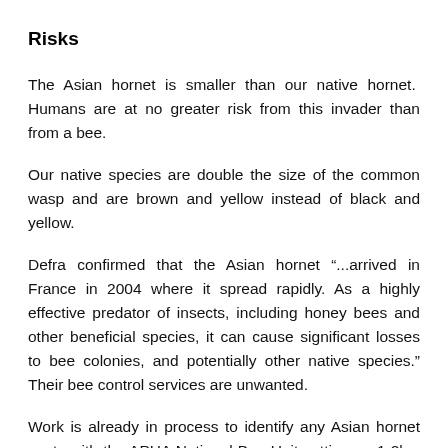Risks
The Asian hornet is smaller than our native hornet.  Humans are at no greater risk from this invader than from a bee.
Our native species are double the size of the common wasp and are brown and yellow instead of black and yellow.
Defra confirmed that the Asian hornet “...arrived in France in 2004 where it spread rapidly. As a highly effective predator of insects, including honey bees and other beneficial species, it can cause significant losses to bee colonies, and potentially other native species.” Their bee control services are unwanted.
Work is already in process to identify any Asian hornet nests with the APHA National Bee Unit setting up 1-2km surveillance and traps in Boston and Bury. Bee inspectors are also meeting with local beekeepers to inform them about risks to honey bees...